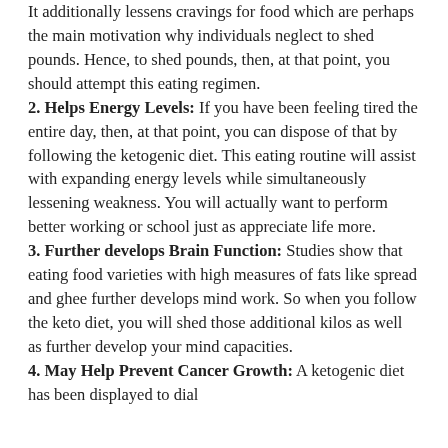It additionally lessens cravings for food which are perhaps the main motivation why individuals neglect to shed pounds. Hence, to shed pounds, then, at that point, you should attempt this eating regimen.
2. Helps Energy Levels: If you have been feeling tired the entire day, then, at that point, you can dispose of that by following the ketogenic diet. This eating routine will assist with expanding energy levels while simultaneously lessening weakness. You will actually want to perform better working or school just as appreciate life more.
3. Further develops Brain Function: Studies show that eating food varieties with high measures of fats like spread and ghee further develops mind work. So when you follow the keto diet, you will shed those additional kilos as well as further develop your mind capacities.
4. May Help Prevent Cancer Growth: A ketogenic diet has been displayed to dial